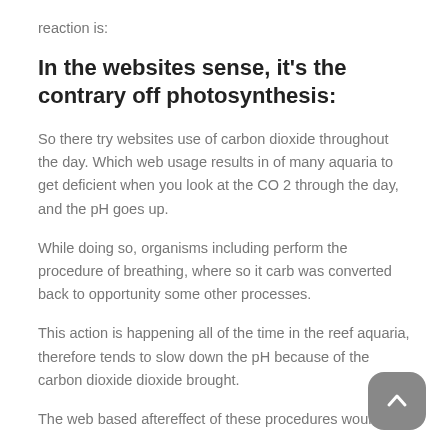reaction is:
In the websites sense, it's the contrary off photosynthesis:
So there try websites use of carbon dioxide throughout the day. Which web usage results in of many aquaria to get deficient when you look at the CO 2 through the day, and the pH goes up.
While doing so, organisms including perform the procedure of breathing, where so it carb was converted back to opportunity some other processes.
This action is happening all of the time in the reef aquaria, therefore tends to slow down the pH because of the carbon dioxide dioxide brought.
The web based aftereffect of these procedures would be